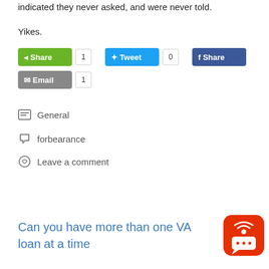indicated they never asked, and were never told.
Yikes.
[Figure (screenshot): Social sharing buttons: Share (green, count 1), Tweet (blue, count 0), Facebook Share (dark blue, count 0), Email (gray, count 1)]
General
forbearance
Leave a comment
Can you have more than one VA loan at a time